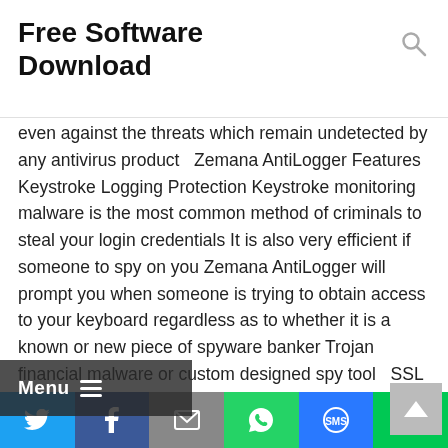Free Software Download
even against the threats which remain undetected by any antivirus product   Zemana AntiLogger Features Keystroke Logging Protection Keystroke monitoring malware is the most common method of criminals to steal your login credentials It is also very efficient if someone to spy on you Zemana AntiLogger will prompt you when someone is trying to obtain access to your keyboard regardless as to whether it is a known or new piece of spyware banker Trojan financial malware or custom designed spy tool   SSL Intrusion Prevention • Protects SSL https data preencryption • Prevents ManintheBrowser MitB and HTML injection attacks • Monitors the Trusted Root CA Store for fake root certificate installations   Screen Capture Protection AntiLogger keeps your private things private Yet if you
[Figure (screenshot): Menu hamburger button overlay on left side of page]
[Figure (screenshot): Scroll-to-top arrow button, grey rounded square on lower right]
[Figure (infographic): Bottom social share bar with Twitter, Facebook, Email, WhatsApp, SMS, and More buttons]